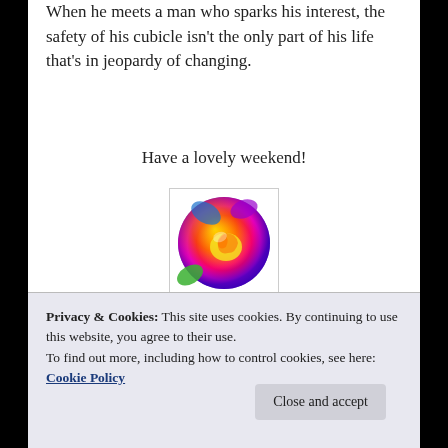When he meets a man who sparks his interest, the safety of his cubicle isn't the only part of his life that's in jeopardy of changing.
Have a lovely weekend!
[Figure (photo): A colorful rainbow rose with petals in multiple vivid colors including purple, pink, blue, green, yellow, orange, and red.]
Advertisements
Privacy & Cookies: This site uses cookies. By continuing to use this website, you agree to their use.
To find out more, including how to control cookies, see here: Cookie Policy